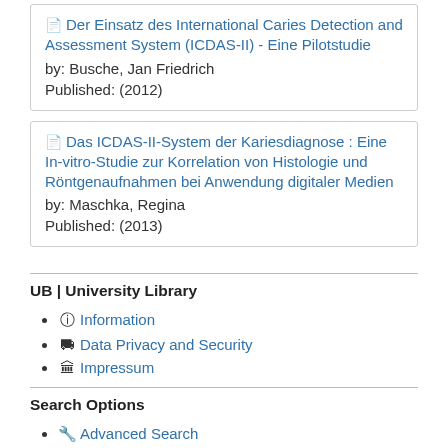Der Einsatz des International Caries Detection and Assessment System (ICDAS-II) - Eine Pilotstudie
by: Busche, Jan Friedrich
Published: (2012)
Das ICDAS-II-System der Kariesdiagnose : Eine In-vitro-Studie zur Korrelation von Histologie und Röntgenaufnahmen bei Anwendung digitaler Medien
by: Maschka, Regina
Published: (2013)
UB | University Library
Information
Data Privacy and Security
Impressum
Search Options
Advanced Search
Browse the Catalog
Author Browse
Find More